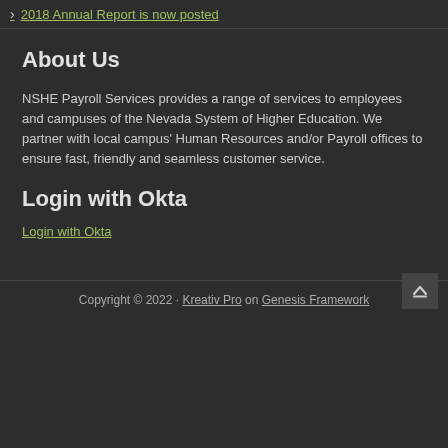2018 Annual Report is now posted
About Us
NSHE Payroll Services provides a range of services to employees and campuses of the Nevada System of Higher Education. We partner with local campus' Human Resources and/or Payroll offices to ensure fast, friendly and seamless customer service.
Login with Okta
Login with Okta
Copyright © 2022 · Kreativ Pro on Genesis Framework